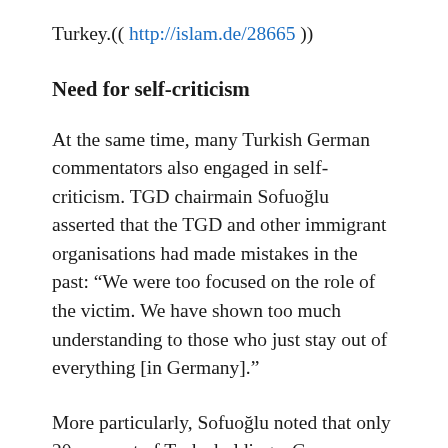Turkey.(( http://islam.de/28665 ))
Need for self-criticism
At the same time, many Turkish German commentators also engaged in self-criticism. TGD chairmain Sofuoğlu asserted that the TGD and other immigrant organisations had made mistakes in the past: “We were too focused on the role of the victim. We have shown too much understanding to those who just stay out of everything [in Germany].”
More particularly, Sofuoğlu noted that only 20 per cent of Turks holding a German passport